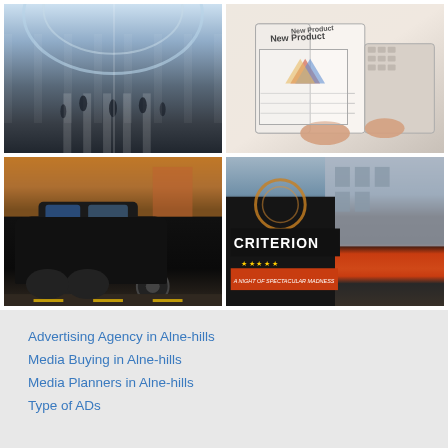[Figure (photo): Shopping mall interior with arched ceiling, people walking on striped floor]
[Figure (photo): Person planning a new product with notebook showing 'New Product' and diagrams, keyboard visible]
[Figure (photo): London black taxi cab on city street at night with advertising wrap, colorful street lights]
[Figure (photo): Criterion theatre sign in London illuminated at night with text 'A Night of Spectacular Madness', building in background]
Advertising Agency in Alne-hills
Media Buying in Alne-hills
Media Planners in Alne-hills
Type of ADs